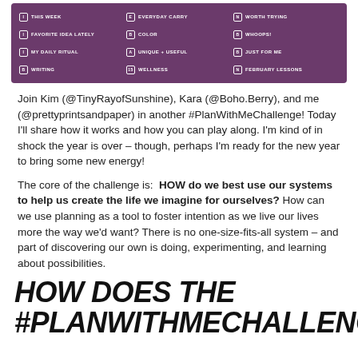[Figure (photo): Purple chalkboard-style banner listing planner challenge categories in white hand-lettered text: This Week, Everyday Carry, Worth Trying, Favorite Idea Lately, Color, Whoops!, My Daily Ritual, Unique + Useful, Just For Me, Writing, Wellness, February Lessons]
Join Kim (@TinyRayofSunshine), Kara (@Boho.Berry), and me (@prettyprintsandpaper) in another #PlanWithMeChallenge! Today I'll share how it works and how you can play along. I'm kind of in shock the year is over – though, perhaps I'm ready for the new year to bring some new energy!
The core of the challenge is: HOW do we best use our systems to help us create the life we imagine for ourselves? How can we use planning as a tool to foster intention as we live our lives more the way we'd want? There is no one-size-fits-all system – and part of discovering our own is doing, experimenting, and learning about possibilities.
HOW DOES THE #PLANWITHMECHALLENGE